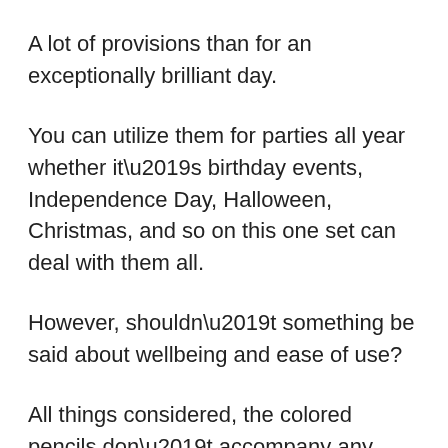A lot of provisions than for an exceptionally brilliant day.
You can utilize them for parties all year whether it’s birthday events, Independence Day, Halloween, Christmas, and so on this one set can deal with them all.
However, shouldn’t something be said about wellbeing and ease of use?
All things considered, the colored pencils don’t accompany any further intricacies.
The entire set remains completely non-harmful,